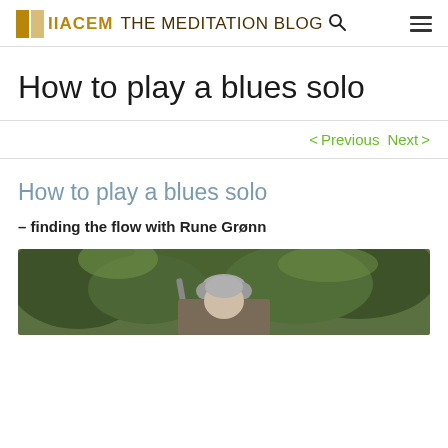IIACEM THE MEDITATION BLOG
How to play a blues solo
< Previous   Next >
How to play a blues solo
– finding the flow with Rune Grønn
[Figure (photo): Outdoor photo of a person (Rune Grønn) with trees in the background, holding what appears to be a musical instrument]